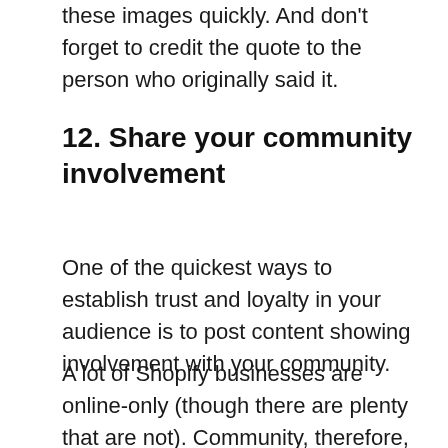these images quickly. And don't forget to credit the quote to the person who originally said it.
12. Share your community involvement
One of the quickest ways to establish trust and loyalty in your audience is to post content showing involvement with your community.
A lot of Shopify businesses are online-only (though there are plenty that are not). Community, therefore, can have a loose definition in this case. However, if you happen